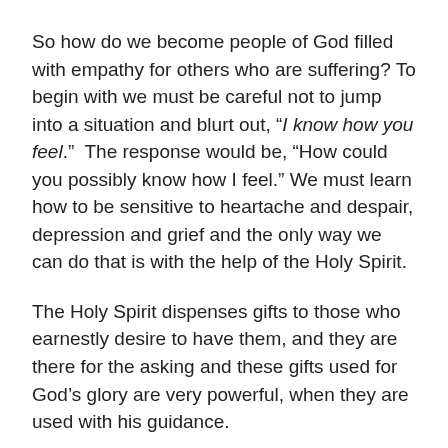So how do we become people of God filled with empathy for others who are suffering? To begin with we must be careful not to jump into a situation and blurt out, “I know how you feel.”  The response would be, “How could you possibly know how I feel.” We must learn how to be sensitive to heartache and despair, depression and grief and the only way we can do that is with the help of the Holy Spirit.
The Holy Spirit dispenses gifts to those who earnestly desire to have them, and they are there for the asking and these gifts used for God’s glory are very powerful, when they are used with his guidance.
“But the fruit of the Spirit is love, joy, peace, patience, kindness, goodness, faithfulness, gentleness and self